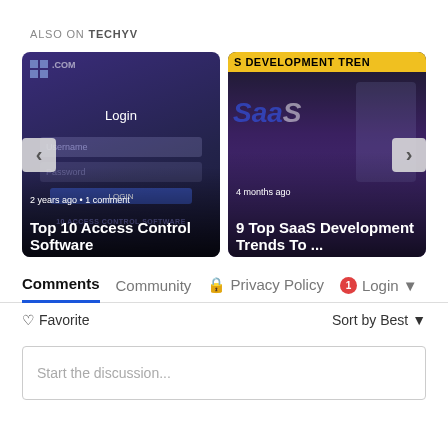ALSO ON TECHYV
[Figure (screenshot): Two article cards for TECHYV website. Left card: 'Top 10 Access Control Software' with '2 years ago • 1 comment'. Right card: '9 Top SaaS Development Trends To ...' with '4 months ago'. Navigation arrows on sides.]
Comments  Community  🔒 Privacy Policy  1  Login ▾
♡ Favorite
Sort by Best ▾
Start the discussion...